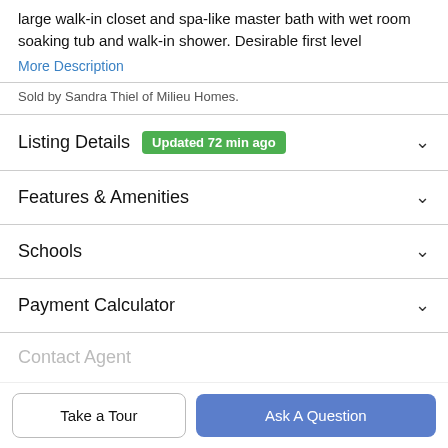large walk-in closet and spa-like master bath with wet room soaking tub and walk-in shower. Desirable first level
More Description
Sold by Sandra Thiel of Milieu Homes.
Listing Details  Updated 72 min ago
Features & Amenities
Schools
Payment Calculator
Contact Agent
Take a Tour
Ask A Question